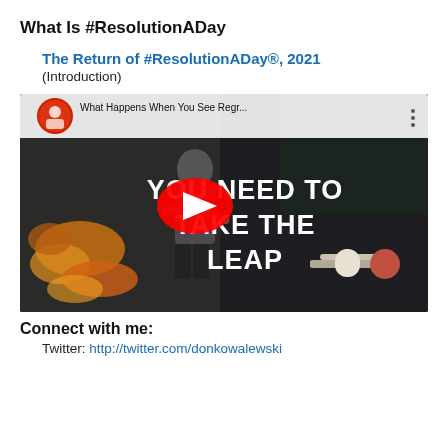What Is #ResolutionADay
The Return of #ResolutionADay®, 2021
(Introduction)
[Figure (screenshot): YouTube video thumbnail showing a man gesturing on stage with text overlay 'YOU NEED TO TAKE THE LEAP' and a YouTube play button in the center. Video title reads 'What Happens When You See Regr...']
Connect with me:
Twitter: http://twitter.com/donkowalewski